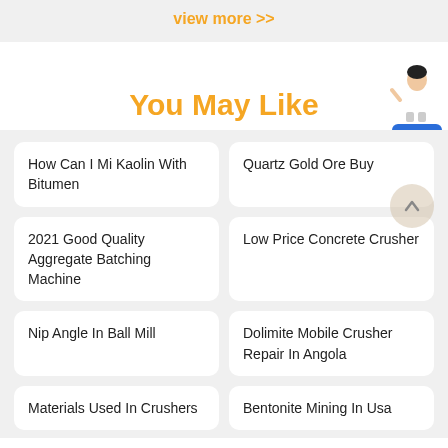view more >>
You May Like
How Can I Mi Kaolin With Bitumen
Quartz Gold Ore Buy
2021 Good Quality Aggregate Batching Machine
Low Price Concrete Crusher
Nip Angle In Ball Mill
Dolimite Mobile Crusher Repair In Angola
Materials Used In Crushers
Bentonite Mining In Usa